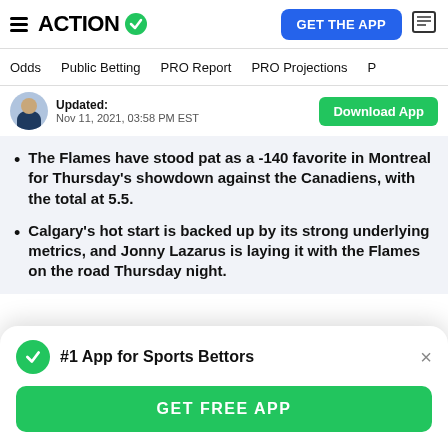ACTION (logo with checkmark) | GET THE APP
Odds  Public Betting  PRO Report  PRO Projections
Updated: Nov 11, 2021, 03:58 PM EST | Download App
The Flames have stood pat as a -140 favorite in Montreal for Thursday's showdown against the Canadiens, with the total at 5.5.
Calgary's hot start is backed up by its strong underlying metrics, and Jonny Lazarus is laying it with the Flames on the road Thursday night.
#1 App for Sports Bettors
GET FREE APP